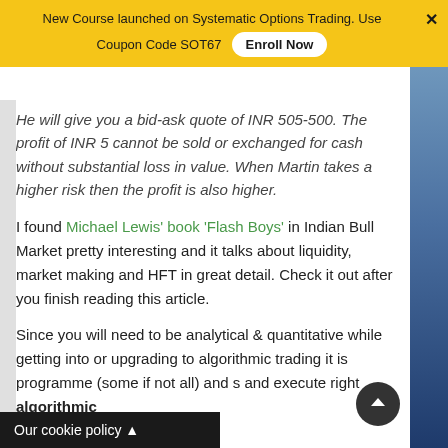New Course launched on Systematic Options Trading. Use Coupon Code SOT67  Enroll Now  ×
He will give you a bid-ask quote of INR 505-500. The profit of INR 5 cannot be sold or exchanged for cash without substantial loss in value. When Martin takes a higher risk then the profit is also higher.
I found Michael Lewis' book 'Flash Boys' in Indian Bull Market pretty interesting and it talks about liquidity, market making and HFT in great detail. Check it out after you finish reading this article.
Since you will need to be analytical & quantitative while getting into or upgrading to algorithmic trading it is programme (some if not all) and s and execute right algorithmic
Our cookie policy ▲